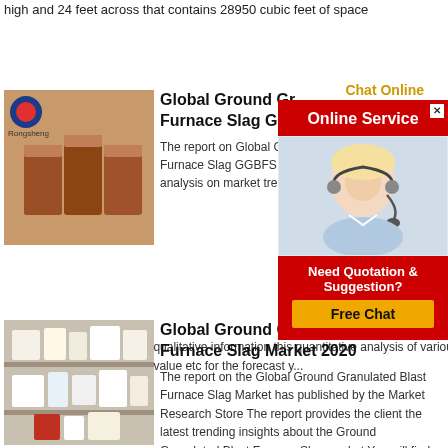high and 24 feet across that contains 28950 cubic feet of space
[Figure (photo): Product image showing brown rectangular blocks/bricks with a logo in top-left corner]
Global Ground Granulated Blast Furnace Slag GC...
The report on Global Ground Granulated Blast Furnace Slag GGBFS Market analysis on market trends opportunities etc Along with qualitative information this quantitative analysis of various segments in terms of market opportunity analysis market value etc for the forecast y...
[Figure (screenshot): Online Service chat widget with red header, female customer service agent with headset, and Free Chat button]
[Figure (photo): Shelf with various packaged products including white boxes and containers]
Global Ground Granulated Blast Furnace Slag Market 2020
The report on the Global Ground Granulated Blast Furnace Slag Market has published by the Market Research Store The report provides the client the latest trending insights about the Ground Granulated Blast Furnace Slag market You will find